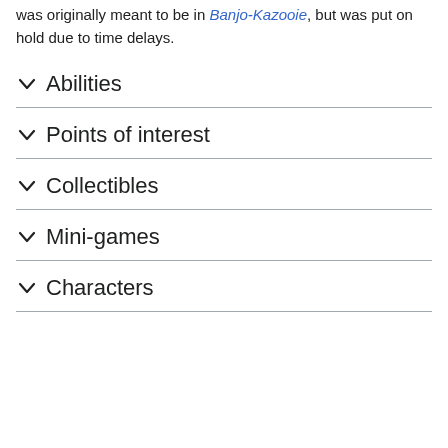was originally meant to be in Banjo-Kazooie, but was put on hold due to time delays.
Abilities
Points of interest
Collectibles
Mini-games
Characters